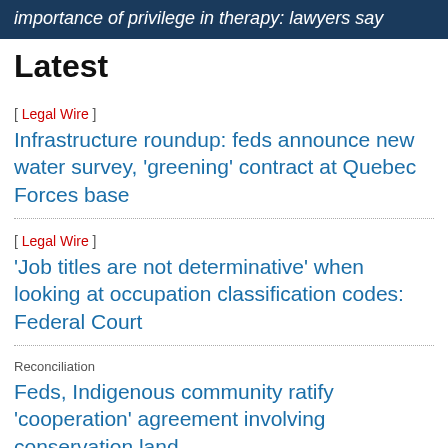importance of privilege in therapy: lawyers say
Latest
[ Legal Wire ]
Infrastructure roundup: feds announce new water survey, 'greening' contract at Quebec Forces base
[ Legal Wire ]
'Job titles are not determinative' when looking at occupation classification codes: Federal Court
Reconciliation
Feds, Indigenous community ratify 'cooperation' agreement involving conservation land